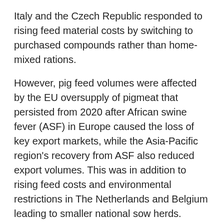Italy and the Czech Republic responded to rising feed material costs by switching to purchased compounds rather than home-mixed rations.
However, pig feed volumes were affected by the EU oversupply of pigmeat that persisted from 2020 after African swine fever (ASF) in Europe caused the loss of key export markets, while the Asia-Pacific region's recovery from ASF also reduced export volumes. This was in addition to rising feed costs and environmental restrictions in The Netherlands and Belgium leading to smaller national sow herds. Overall EU pig feed output fell by 1.5% in 2021, with the biggest reductions in Germany, France, Portugal, Spain, Austria, Slovenia and Hungary.
Looking ahead to full year 2022, Fefac